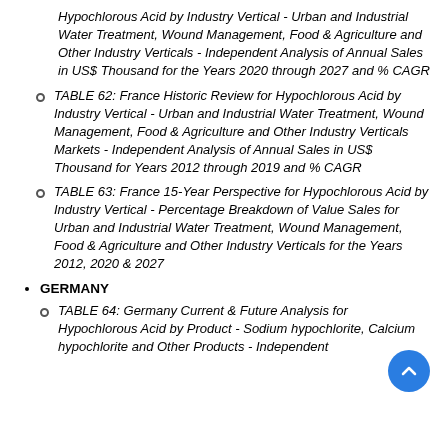Hypochlorous Acid by Industry Vertical - Urban and Industrial Water Treatment, Wound Management, Food & Agriculture and Other Industry Verticals - Independent Analysis of Annual Sales in US$ Thousand for the Years 2020 through 2027 and % CAGR
TABLE 62: France Historic Review for Hypochlorous Acid by Industry Vertical - Urban and Industrial Water Treatment, Wound Management, Food & Agriculture and Other Industry Verticals Markets - Independent Analysis of Annual Sales in US$ Thousand for Years 2012 through 2019 and % CAGR
TABLE 63: France 15-Year Perspective for Hypochlorous Acid by Industry Vertical - Percentage Breakdown of Value Sales for Urban and Industrial Water Treatment, Wound Management, Food & Agriculture and Other Industry Verticals for the Years 2012, 2020 & 2027
GERMANY
TABLE 64: Germany Current & Future Analysis for Hypochlorous Acid by Product - Sodium hypochlorite, Calcium hypochlorite and Other Products - Independent